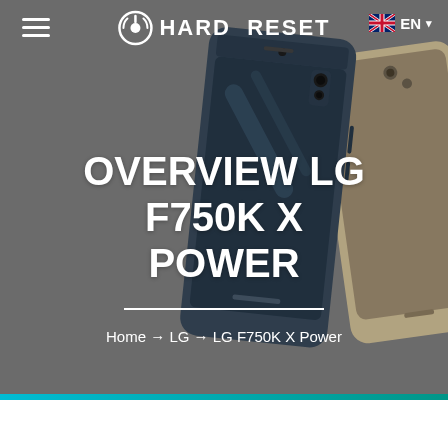[Figure (screenshot): Hero banner with two LG smartphones (dark blue and gold/tan) overlapping, displayed on a grey background. Navigation bar at top with hamburger menu, Hard Reset logo, and EN language selector.]
OVERVIEW LG F750K X POWER
Home → LG → LG F750K X Power